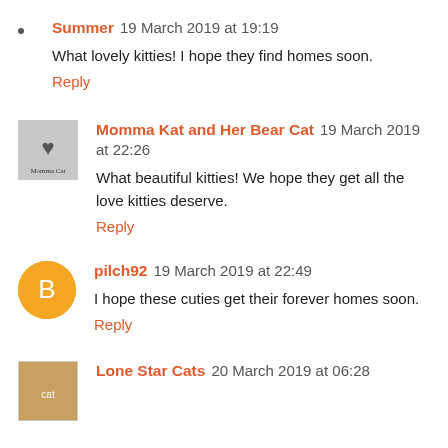Summer 19 March 2019 at 19:19
What lovely kitties! I hope they find homes soon.
Reply
Momma Kat and Her Bear Cat 19 March 2019 at 22:26
What beautiful kitties! We hope they get all the love kitties deserve.
Reply
pilch92 19 March 2019 at 22:49
I hope these cuties get their forever homes soon.
Reply
Lone Star Cats 20 March 2019 at 06:28